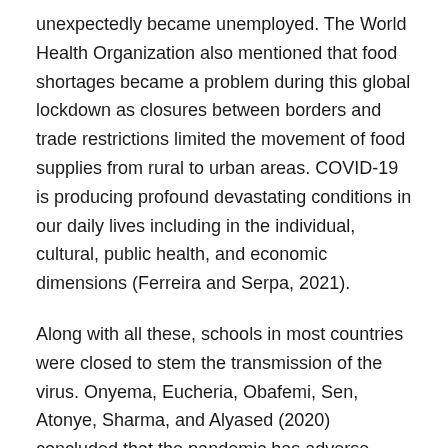unexpectedly became unemployed. The World Health Organization also mentioned that food shortages became a problem during this global lockdown as closures between borders and trade restrictions limited the movement of food supplies from rural to urban areas. COVID-19 is producing profound devastating conditions in our daily lives including in the individual, cultural, public health, and economic dimensions (Ferreira and Serpa, 2021).
Along with all these, schools in most countries were closed to stem the transmission of the virus. Onyema, Eucheria, Obafemi, Sen, Atonye, Sharma, and Alyased (2020) concluded that the pandemic has adverse effects on educational systems including research, academic programs, staff professional development and jobs in the academic sector, etc. These changes were felt not just by schools but also by teachers, students, and even parents. As lockdowns were